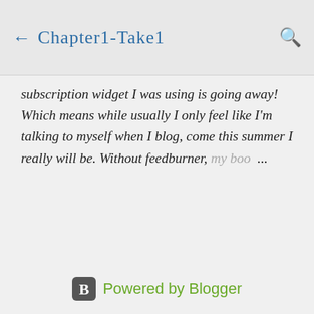← Chapter1-Take1
subscription widget I was using is going away!  Which means while usually I only feel like I'm talking to myself when I blog, come this summer I really will be. Without feedburner, my boo ...
[Figure (logo): Powered by Blogger logo with Blogger B icon and green text]